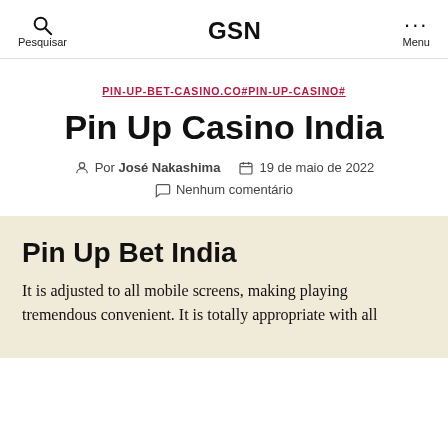Pesquisar   GSN   Menu
PIN-UP-BET-CASINO.CO#PIN-UP-CASINO#
Pin Up Casino India
Por José Nakashima   19 de maio de 2022   Nenhum comentário
Pin Up Bet India
It is adjusted to all mobile screens, making playing tremendous convenient. It is totally appropriate with all